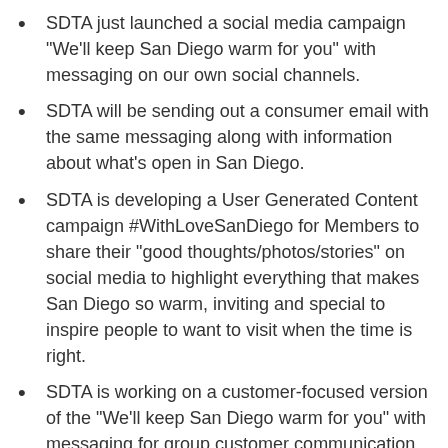SDTA just launched a social media campaign "We'll keep San Diego warm for you" with messaging on our own social channels.
SDTA will be sending out a consumer email with the same messaging along with information about what's open in San Diego.
SDTA is developing a User Generated Content campaign #WithLoveSanDiego for Members to share their "good thoughts/photos/stories" on social media to highlight everything that makes San Diego so warm, inviting and special to inspire people to want to visit when the time is right.
SDTA is working on a customer-focused version of the "We'll keep San Diego warm for you" with messaging for group customer communication via email and LinkedIn.